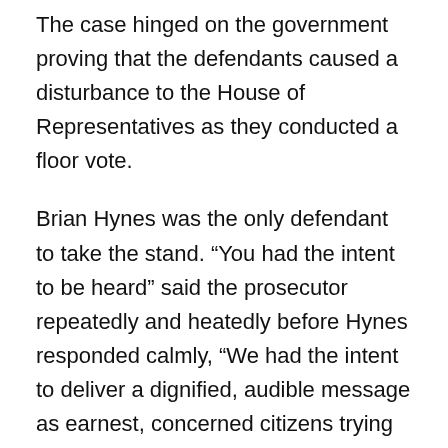The case hinged on the government proving that the defendants caused a disturbance to the House of Representatives as they conducted a floor vote.
Brian Hynes was the only defendant to take the stand. “You had the intent to be heard” said the prosecutor repeatedly and heatedly before Hynes responded calmly, “We had the intent to deliver a dignified, audible message as earnest, concerned citizens trying to show the wrongfulness of our government”
The trial is part of Witness Against Torture’s ten-day “Hungering for Justice” campaign that began